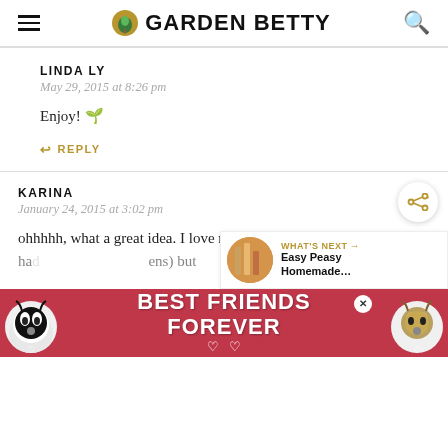GARDEN BETTY
LINDA LY
May 29, 2015 at 8:26 pm

Enjoy! 🌱

↩ REPLY
KARINA
January 24, 2015 at 3:02 pm

ohhhhh, what a great idea. I love my nasturtium to keep my... (hens) but had... at in...
[Figure (screenshot): BEST FRIENDS FOREVER advertisement banner with two cats]
[Figure (infographic): WHAT'S NEXT: Easy Peasy Homemade... widget with thumbnail]